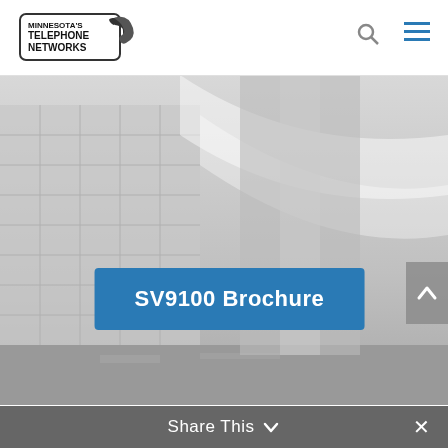[Figure (logo): Minnesota Telephone Networks logo with telephone handset graphic]
[Figure (photo): Grayscale photo of a modern office/commercial building exterior with glass facade]
SV9100 Brochure
Share This
[Figure (other): Up arrow button (scroll to top)]